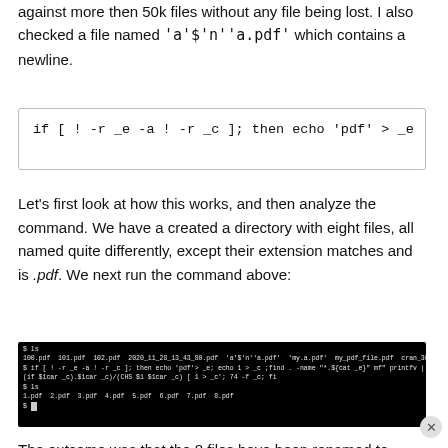against more then 50k files without any file being lost. I also checked a file named 'a'$'n''a.pdf' which contains a newline.
Let's first look at how this works, and then analyze the command. We have a created a directory with eight files, all named quite differently, except their extension matches and is .pdf. We next run the command above:
[Figure (screenshot): Terminal screenshot showing shell commands and output including ls, pdf file renaming commands, and file listing showing 1.pdf 2.pdf 3.pdf 4.pdf 5.pdf 6.pdf 7.pdf 8.pdf]
The outcome was that the 8 files have been renamed to